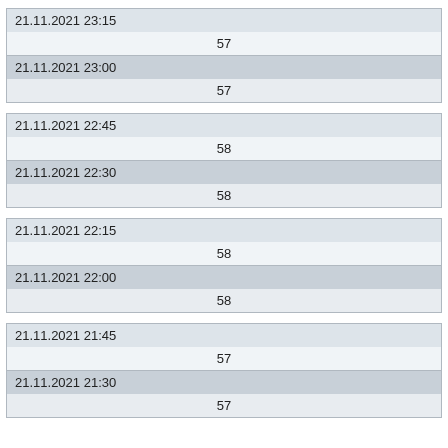| 21.11.2021 23:15 |
| 57 |
| 21.11.2021 23:00 |
| 57 |
| 21.11.2021 22:45 |
| 58 |
| 21.11.2021 22:30 |
| 58 |
| 21.11.2021 22:15 |
| 58 |
| 21.11.2021 22:00 |
| 58 |
| 21.11.2021 21:45 |
| 57 |
| 21.11.2021 21:30 |
| 57 |